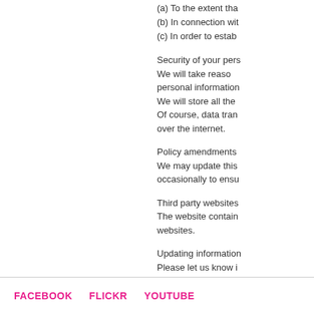(a) To the extent tha
(b) In connection wit
(c) In order to estab
Security of your pers
We will take reaso
personal information
We will store all the
Of course, data tran
over the internet.
Policy amendments
We may update this
occasionally to ensu
Third party websites
The website contain
websites.
Updating information
Please let us know i
Contact:
If you have any que
email to info@bromp
These terms and co
FACEBOOK   FLICKR   YOUTUBE